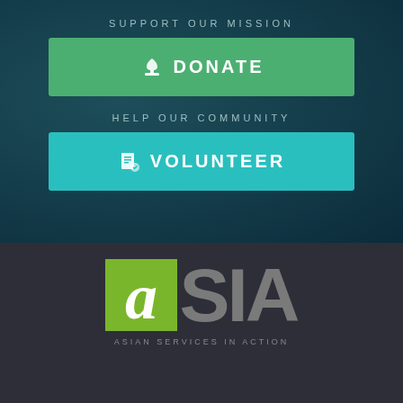SUPPORT OUR MISSION
DONATE
HELP OUR COMMUNITY
VOLUNTEER
[Figure (logo): ASIA - Asian Services in Action logo with green square containing stylized letter 'a' and gray SIA text]
ASIAN SERVICES IN ACTION